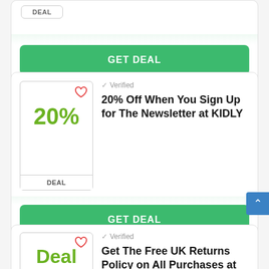DEAL
GET DEAL
Verified
20% Off When You Sign Up for The Newsletter at KIDLY
DEAL
GET DEAL
Verified
Get The Free UK Returns Policy on All Purchases at KIDLY